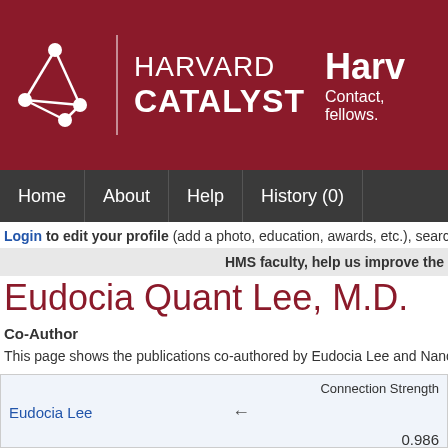[Figure (logo): Harvard Catalyst logo with network graph icon, Harvard Catalyst text in white on dark red background, and partial 'Harv' text with 'Contact, fellows.' subtitle on right]
Home | About | Help | History (0)
Login to edit your profile (add a photo, education, awards, etc.), search s
HMS faculty, help us improve the
Eudocia Quant Lee, M.D.
Co-Author
This page shows the publications co-authored by Eudocia Lee and Nancy Lin.
|  | Connection Strength |
| --- | --- |
| Eudocia Lee |  |
|  | 0.986 |